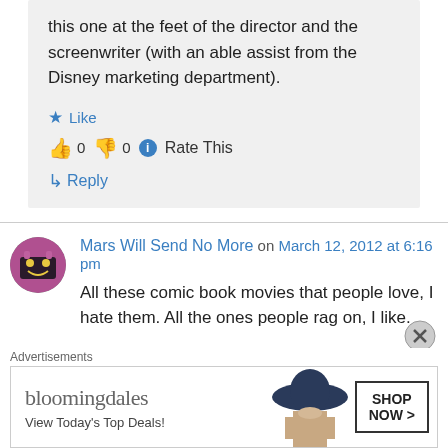this one at the feet of the director and the screenwriter (with an able assist from the Disney marketing department).
Like
0  0  Rate This
Reply
Mars Will Send No More on March 12, 2012 at 6:16 pm
All these comic book movies that people love, I hate them. All the ones people rag on, I like.
Advertisements
[Figure (photo): Bloomingdale's advertisement banner with woman in large hat. Text reads: bloomingdales, View Today's Top Deals!, SHOP NOW >]